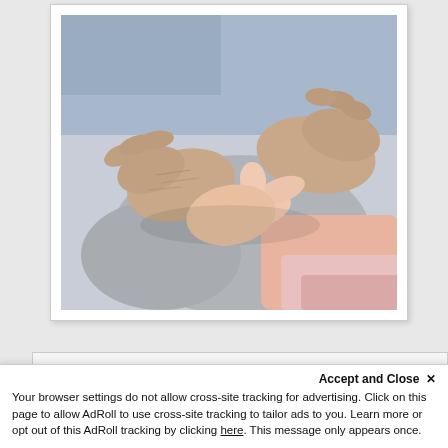[Figure (photo): Close-up photo of hands holding — an elderly person's hands being held by a younger person wearing a pink sleeve, suggesting caregiving or medical support]
View All Facility Jobs (0)
Accept and Close ✕
Your browser settings do not allow cross-site tracking for advertising. Click on this page to allow AdRoll to use cross-site tracking to tailor ads to you. Learn more or opt out of this AdRoll tracking by clicking here. This message only appears once.